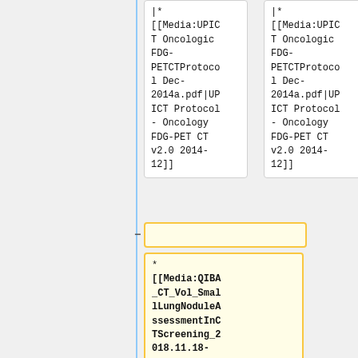|*
[[Media:UPICT Oncologic FDG-PETCTProtocol Dec-2014a.pdf|UPICT Protocol - Oncology FDG-PET CT v2.0 2014-12]]
|*
[[Media:UPICT Oncologic FDG-PETCTProtocol Dec-2014a.pdf|UPICT Protocol - Oncology FDG-PET CT v2.0 2014-12]]
* [[Media:QIBA_CT_Vol_SmallLungNoduleAssessmentInCTScreening_2018.11.18-clean-